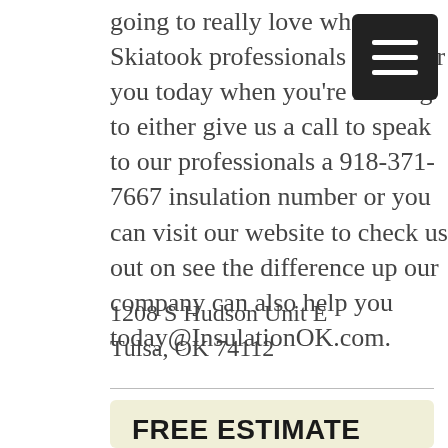going to really love what our Skiatook professionals can offer you today when you're looking to either give us a call to speak to our professionals a 918-371-7667 insulation number or you can visit our website to check us out on see the difference up our company can also help you today@InsulationOK.com.
1208 S Hudson Unit E
Tulsa, OK 74112
FREE ESTIMATE
Click the link below learn how you can save money on your utility bills with Affordable